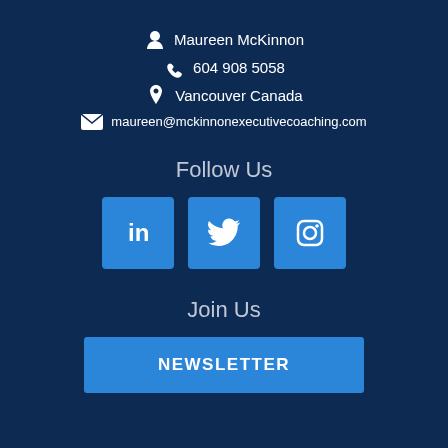Maureen McKinnon
604 908 5058
Vancouver Canada
maureen@mckinnonexecutivecoaching.com
Follow Us
[Figure (infographic): Three social media icon buttons: LinkedIn, Twitter, Instagram]
Join Us
NEWSLETTER